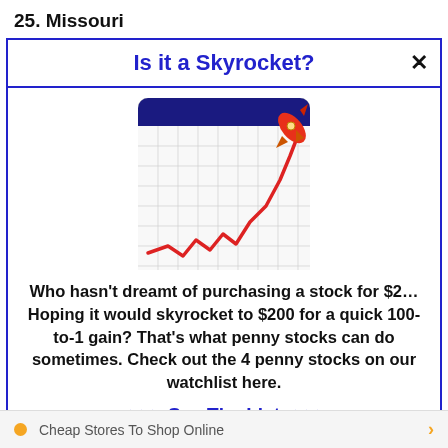25. Missouri
Is it a Skyrocket?
[Figure (illustration): A stock chart icon showing a red zigzag line trending upward sharply, resembling a rocket trajectory, on a grid-style calendar/chart background with a dark blue header bar at the top and a red rocket visible at the top right.]
Who hasn't dreamt of purchasing a stock for $2… Hoping it would skyrocket to $200 for a quick 100-to-1 gain? That's what penny stocks can do sometimes. Check out the 4 penny stocks on our watchlist here.
>>> See The List <<<
Cheap Stores To Shop Online